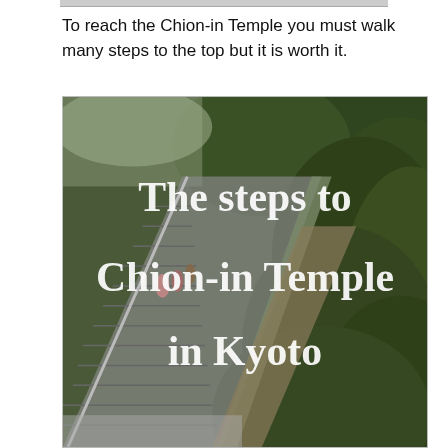To reach the Chion-in Temple you must walk many steps to the top but it is worth it.
[Figure (photo): Photograph of stone steps leading up to Chion-in Temple in Kyoto, flanked by dense green shrubbery. People can be seen climbing the steps in the distance. White serif text overlaid on the image reads 'The steps to Chion-in Temple in Kyoto'.]